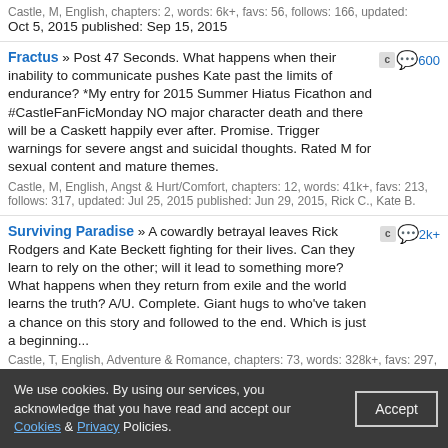Castle, M, English, chapters: 2, words: 6k+, favs: 56, follows: 166, updated: Oct 5, 2015 published: Sep 15, 2015
Fractus » Post 47 Seconds. What happens when their inability to communicate pushes Kate past the limits of endurance? *My entry for 2015 Summer Hiatus Ficathon and #CastleFanFicMonday NO major character death and there will be a Caskett happily ever after. Promise. Trigger warnings for severe angst and suicidal thoughts. Rated M for sexual content and mature themes. Castle, M, English, Angst & Hurt/Comfort, chapters: 12, words: 41k+, favs: 213, follows: 317, updated: Jul 25, 2015 published: Jun 29, 2015, Rick C., Kate B.
Surviving Paradise » A cowardly betrayal leaves Rick Rodgers and Kate Beckett fighting for their lives. Can they learn to rely on the other; will it lead to something more? What happens when they return from exile and the world learns the truth? A/U. Complete. Giant hugs to who've taken a chance on this story and followed to the end. Which is just a beginning... Castle, T, English, Adventure & Romance, chapters: 73, words: 328k+, favs: 297, follows: 342, updated: Feb 15, 2015 published: May 17, 2014, Rick C., Kate B.
Three Strikes and You're OUT! ThankYouTerri Filled as a prompt for Katherine (@Klff ). The prompt appears at the end of the fic, so as not to give the story away. I promise a very fluffy ending, and lots of fun prior to the end. Castle, K, English, Humor, words: 5k+, favs: 56, follows: 17, Dec 6, 2014
We use cookies. By using our services, you acknowledge that you have read and accept our Cookies & Privacy Policies.